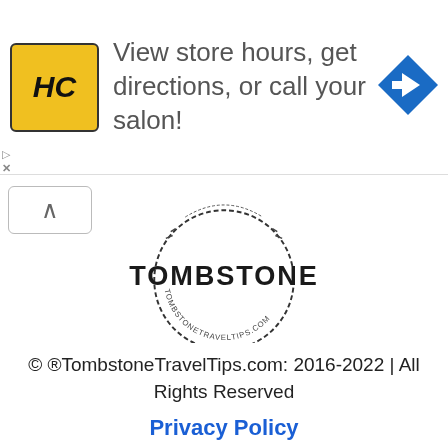[Figure (screenshot): Advertisement banner with HC logo (yellow background), text 'View store hours, get directions, or call your salon!', and a blue diamond arrow navigation icon on the right.]
[Figure (logo): Tombstone Travel Tips circular logo with TOMBSTONE text and TOMBSTONETRAVELTIPS.COM around the circle.]
© ®TombstoneTravelTips.com: 2016-2022 | All Rights Reserved
Privacy Policy
Advertising Disclosure
Site Map Guide
Contact Us